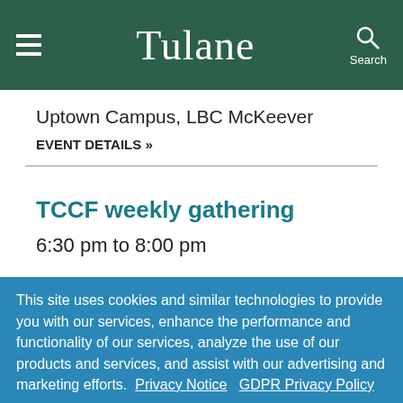Tulane
Uptown Campus, LBC McKeever
EVENT DETAILS »
TCCF weekly gathering
6:30 pm to 8:00 pm
This site uses cookies and similar technologies to provide you with our services, enhance the performance and functionality of our services, analyze the use of our products and services, and assist with our advertising and marketing efforts. Privacy Notice GDPR Privacy Policy
ACCEPT
Decline